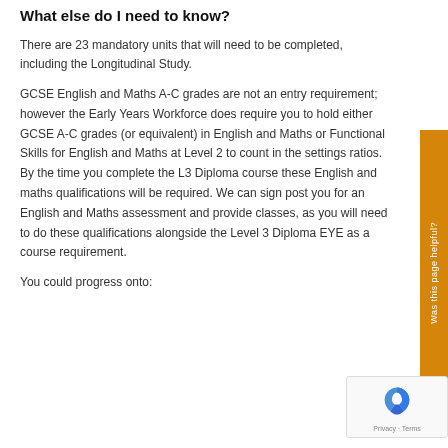What else do I need to know?
There are 23 mandatory units that will need to be completed, including the Longitudinal Study.
GCSE English and Maths A-C grades are not an entry requirement; however the Early Years Workforce does require you to hold either GCSE A-C grades (or equivalent) in English and Maths or Functional Skills for English and Maths at Level 2 to count in the settings ratios. By the time you complete the L3 Diploma course these English and maths qualifications will be required. We can sign post you for an English and Maths assessment and provide classes, as you will need to do these qualifications alongside the Level 3 Diploma EYE as a course requirement.
You could progress onto: